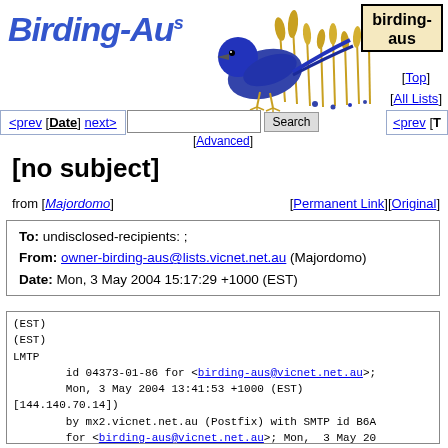[Figure (illustration): Birding-Aus website header with logo text 'Birding-Au' with superscript 's' and an illustration of a blue bird (Superb Fairy-wren) with golden grass]
birding-aus
[Top] [All Lists]
<prev [Date] next>   [Advanced]   <prev [T
[no subject]
from [Majordomo]    [Permanent Link][Original]
| To: undisclosed-recipients: ; |
| From: owner-birding-aus@lists.vicnet.net.au (Majordomo) |
| Date: Mon, 3 May 2004 15:17:29 +1000 (EST) |
(EST)
(EST)
LMTP
        id 04373-01-86 for <birding-aus@vicnet.net.au>;
        Mon, 3 May 2004 13:41:53 +1000 (EST)
[144.140.70.14])
        by mx2.vicnet.net.au (Postfix) with SMTP id B6A
        for <birding-aus@vicnet.net.au>; Mon,  3 May 20
(EST)
bwmam02.bigpond.com(MAM REL_3_4_2 11/9212128) with SMTP